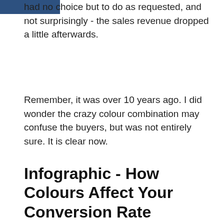had no choice but to do as requested, and not surprisingly - the sales revenue dropped a little afterwards.
Remember, it was over 10 years ago. I did wonder the crazy colour combination may confuse the buyers, but was not entirely sure. It is clear now.
Infographic - How Colours Affect Your Conversion Rate
The infographic was created in 2014 by genius Neil Patel in quicksprout.com. I like the fact that the primary "in-your-face" colours are not used here. I interpret that the infographic refers to the base